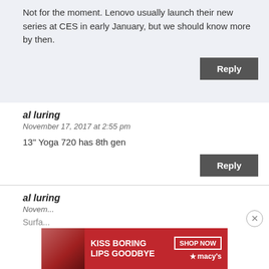Not for the moment. Lenovo usually launch their new series at CES in early January, but we should know more by then.
Reply
al luring
November 17, 2017 at 2:55 pm
13" Yoga 720 has 8th gen
Reply
al luring
[Figure (photo): Macy's advertisement banner: 'KISS BORING LIPS GOODBYE' with a SHOP NOW button and red lips photo]